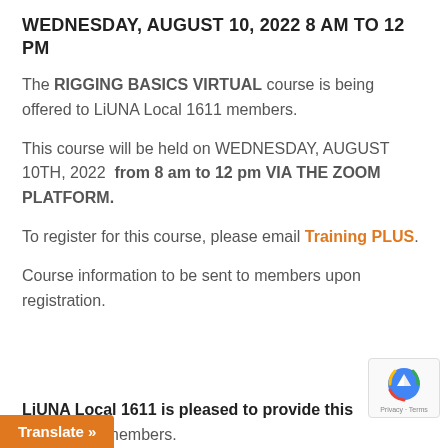WEDNESDAY, AUGUST 10, 2022 8 AM TO 12 PM
The RIGGING BASICS VIRTUAL course is being offered to LiUNA Local 1611 members.
This course will be held on WEDNESDAY, AUGUST 10TH, 2022 from 8 am to 12 pm VIA THE ZOOM PLATFORM.
To register for this course, please email Training PLUS.
Course information to be sent to members upon registration.
LiUNA Local 1611 is pleased to provide this course free of charge to its members.